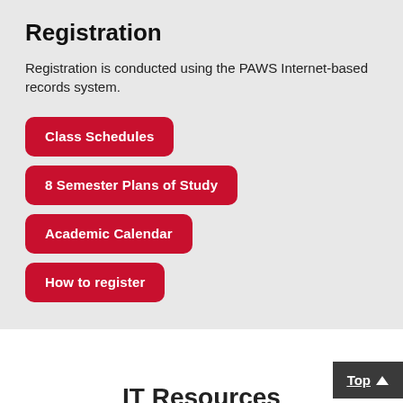Registration
Registration is conducted using the PAWS Internet-based records system.
Class Schedules
8 Semester Plans of Study
Academic Calendar
How to register
Top ↑
IT Resources